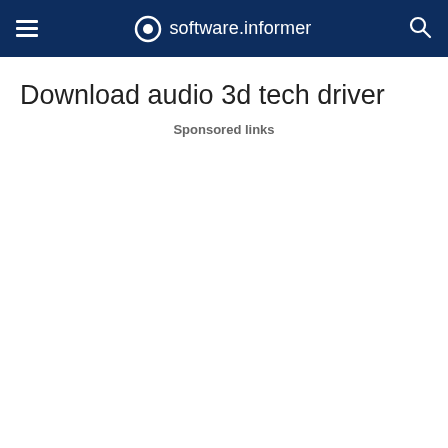software.informer
Download audio 3d tech driver
Sponsored links